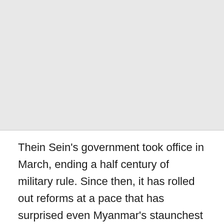[Figure (photo): Large image placeholder occupying the upper portion of the page]
Thein Sein's government took office in March, ending a half century of military rule. Since then, it has rolled out reforms at a pace that has surprised even Myanmar's staunchest critics.